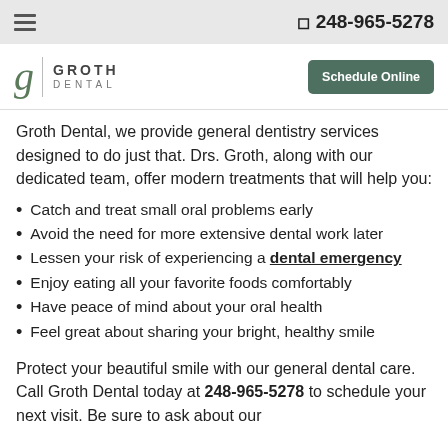248-965-5278
[Figure (logo): Groth Dental logo with stylized 'g' and company name]
Groth Dental, we provide general dentistry services designed to do just that. Drs. Groth, along with our dedicated team, offer modern treatments that will help you:
Catch and treat small oral problems early
Avoid the need for more extensive dental work later
Lessen your risk of experiencing a dental emergency
Enjoy eating all your favorite foods comfortably
Have peace of mind about your oral health
Feel great about sharing your bright, healthy smile
Protect your beautiful smile with our general dental care. Call Groth Dental today at 248-965-5278 to schedule your next visit. Be sure to ask about our